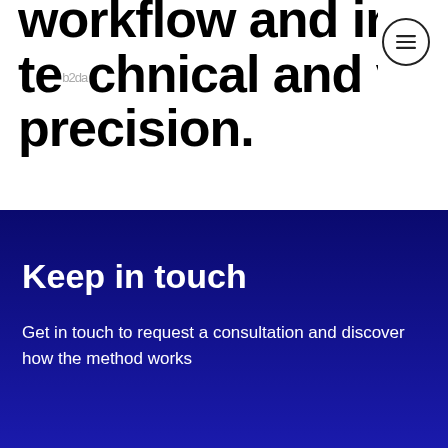workflow and incredible technical and visual precision.
Keep in touch
Get in touch to request a consultation and discover how the one = infinite method works